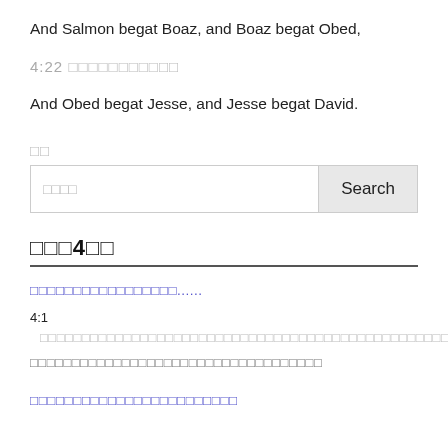And Salmon begat Boaz, and Boaz begat Obed,
4:22 □□□□□□□□□□□
And Obed begat Jesse, and Jesse begat David.
□□
□□□□
□□□4□□
□□□□□□□□□□□□□□□□□......
4:1  □□□□□□□□□□□□□□□□□□□□□□□□□□□□□□□□□□□□□□□□□□□□□□□□“□□□”□□
□□□□□□□□□□□□□□□□□□□□□□□□□□□□□□□□□□□
□□□□□□□□□□□□□□□□□□□□□□□□